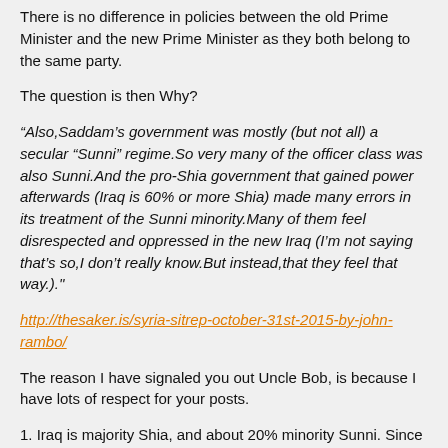There is no difference in policies between the old Prime Minister and the new Prime Minister as they both belong to the same party.
The question is then Why?
“Also,Saddam’s government was mostly (but not all) a secular “Sunni” regime.So very many of the officer class was also Sunni.And the pro-Shia government that gained power afterwards (Iraq is 60% or more Shia) made many errors in its treatment of the Sunni minority.Many of them feel disrespected and oppressed in the new Iraq (I’m not saying that’s so,I don’t really know.But instead,that they feel that way.)."
http://thesaker.is/syria-sitrep-october-31st-2015-by-john-rambo/
The reason I have signaled you out Uncle Bob, is because I have lots of respect for your posts.
1. Iraq is majority Shia, and about 20% minority Sunni. Since the Senior Bush put a knife in the backs of Shia, Saddam went after them with moving lawn. The Shia didn’t have any religious freedom.